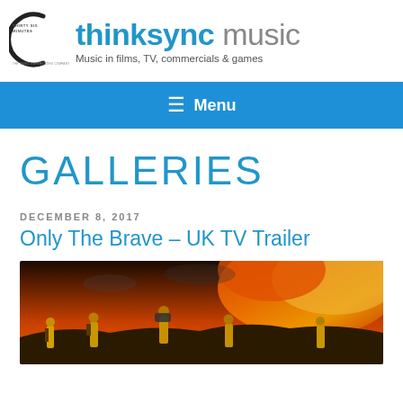[Figure (logo): Thirty Six Minutes circular arc logo with text 'THIRTY SIX MINUTES' and 'THE MUSIC SUPERVISORS COMPANY']
thinksync music — Music in films, TV, commercials & games
≡ Menu
GALLERIES
DECEMBER 8, 2017
Only The Brave – UK TV Trailer
[Figure (photo): Movie still from 'Only The Brave' showing firefighters in yellow gear facing a large fire with orange flames]